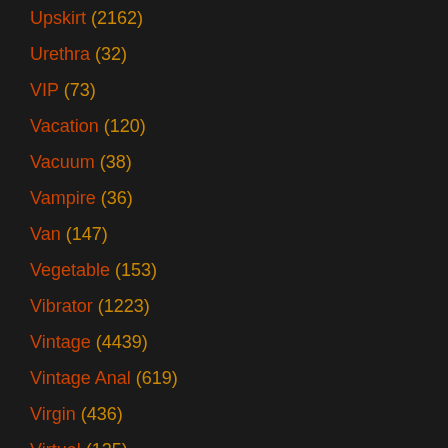Upskirt (2162)
Urethra (32)
VIP (73)
Vacation (120)
Vacuum (38)
Vampire (36)
Van (147)
Vegetable (153)
Vibrator (1223)
Vintage (4439)
Vintage Anal (619)
Virgin (436)
Virtual (125)
Vixen (299)
Voluptuous (151)
Voyeur (14855)